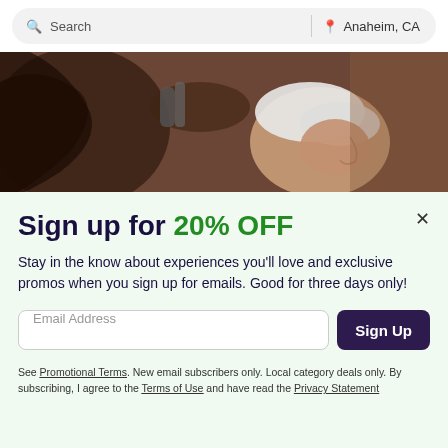[Figure (screenshot): Search bar with 'Search' placeholder on left and 'Anaheim, CA' location on right]
[Figure (photo): Photo of a hair salon professional washing a client's hair, client wearing a white cap, dark moody background]
Sign up for 20% OFF
Stay in the know about experiences you'll love and exclusive promos when you sign up for emails. Good for three days only!
Email Address
Sign Up
See Promotional Terms. New email subscribers only. Local category deals only. By subscribing, I agree to the Terms of Use and have read the Privacy Statement